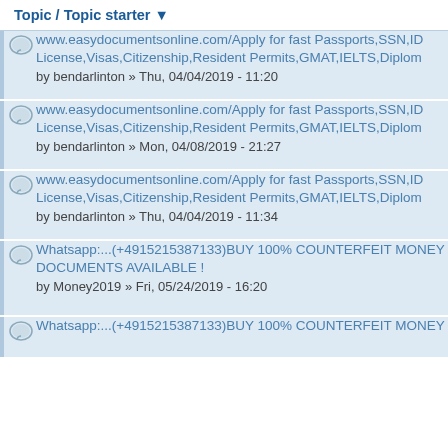Topic / Topic starter ▼
www.easydocumentsonline.com/Apply for fast Passports,SSN,ID License,Visas,Citizenship,Resident Permits,GMAT,IELTS,Diplom
by bendarlinton » Thu, 04/04/2019 - 11:20
www.easydocumentsonline.com/Apply for fast Passports,SSN,ID License,Visas,Citizenship,Resident Permits,GMAT,IELTS,Diplom
by bendarlinton » Mon, 04/08/2019 - 21:27
www.easydocumentsonline.com/Apply for fast Passports,SSN,ID License,Visas,Citizenship,Resident Permits,GMAT,IELTS,Diplom
by bendarlinton » Thu, 04/04/2019 - 11:34
Whatsapp:...(+4915215387133)BUY 100% COUNTERFEIT MONEY DOCUMENTS AVAILABLE !
by Money2019 » Fri, 05/24/2019 - 16:20
Whatsapp:...(+4915215387133)BUY 100% COUNTERFEIT MONEY